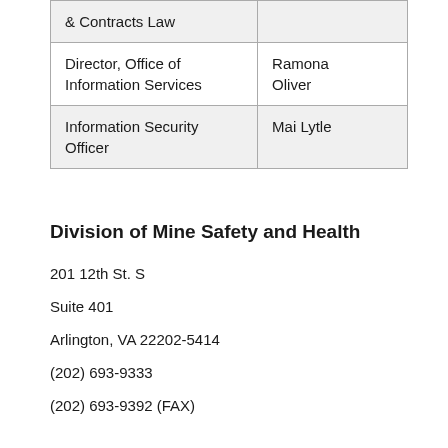| Role | Name |
| --- | --- |
| & Contracts Law |  |
| Director, Office of Information Services | Ramona Oliver |
| Information Security Officer | Mai Lytle |
Division of Mine Safety and Health
201 12th St. S
Suite 401
Arlington, VA 22202-5414
(202) 693-9333
(202) 693-9392 (FAX)